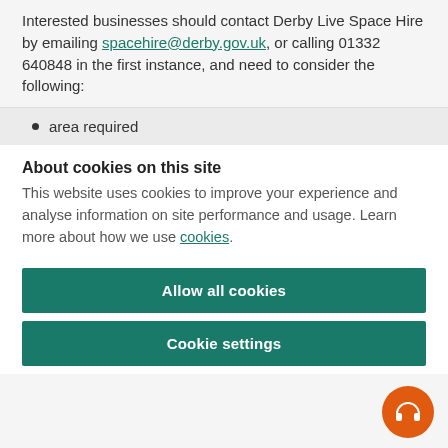Interested businesses should contact Derby Live Space Hire by emailing spacehire@derby.gov.uk, or calling 01332 640848 in the first instance, and need to consider the following:
area required
About cookies on this site
This website uses cookies to improve your experience and analyse information on site performance and usage. Learn more about how we use cookies.
Allow all cookies
Cookie settings